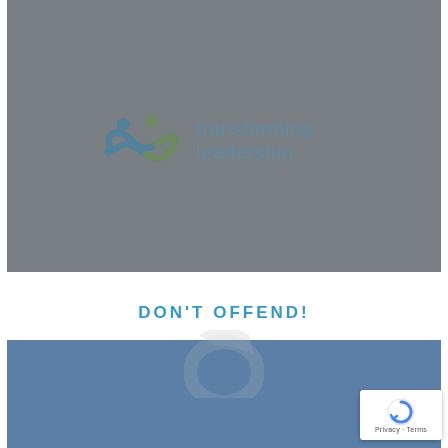[Figure (logo): Transforming Leadership logo on grey background — infinity symbol with two human figures above, beside text 'transforming leadership']
DON'T OFFEND!
[Figure (illustration): Blue rounded arc/phone icon decoration overlapping the white and blue sections]
[Figure (illustration): Solid blue-grey rectangle block at the bottom of the page]
[Figure (other): reCAPTCHA badge — circular arrow icon with 'Privacy - Terms' text below]